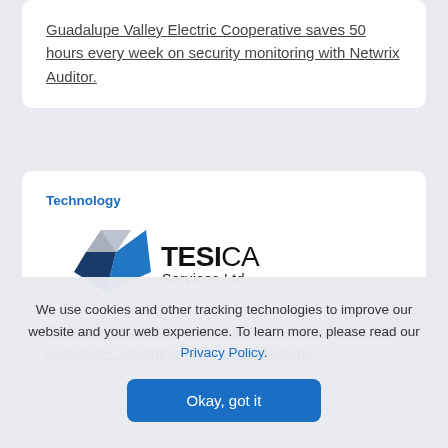Guadalupe Valley Electric Cooperative saves 50 hours every week on security monitoring with Netwrix Auditor.
Technology
[Figure (logo): TESICA Services Ltd logo — a geometric T-shape made of dark blue, medium blue, and gray/silver angular panels, with TESICA Services Ltd wordmark to the right]
Tesica Services secures customer financial data and automates reporting tasks using Netwrix
We use cookies and other tracking technologies to improve our website and your web experience. To learn more, please read our Privacy Policy.
Okay, got it